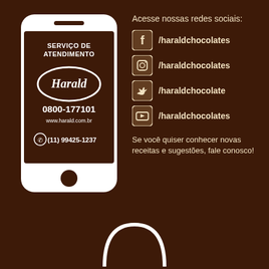[Figure (illustration): Smartphone illustration with brown screen showing Harald logo, phone number 0800-177101, website www.harald.com.br, and WhatsApp number (11) 99425-1237. Text on screen: SERVIÇO DE ATENDIMENTO]
Acesse nossas redes sociais:
/haraldchocolates (Facebook)
/haraldchocolates (Instagram)
/haraldchocolate (Twitter)
/haraldchocolates (YouTube)
Se você quiser conhecer novas receitas e sugestões, fale conosco!
[Figure (illustration): Partial bell/chef hat icon at the bottom center of the page]